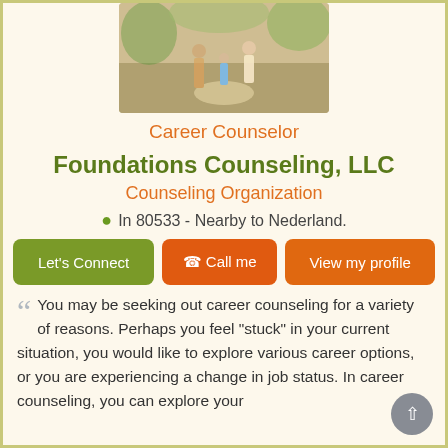[Figure (photo): Photo of a family walking together from behind on a path, showing adults and children]
Career Counselor
Foundations Counseling, LLC
Counseling Organization
In 80533 - Nearby to Nederland.
Let's Connect | Call me | View my profile
You may be seeking out career counseling for a variety of reasons. Perhaps you feel "stuck" in your current situation, you would like to explore various career options, or you are experiencing a change in job status. In career counseling, you can explore your